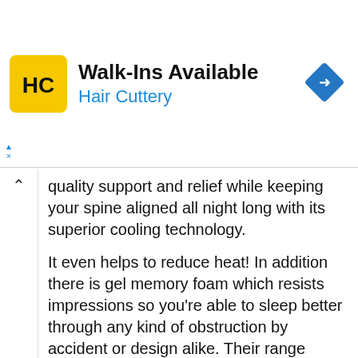[Figure (screenshot): Hair Cuttery advertisement banner with yellow HC logo, 'Walk-Ins Available' headline, blue 'Hair Cuttery' subtitle, and a blue diamond navigation icon on the right]
quality support and relief while keeping your spine aligned all night long with its superior cooling technology.
It even helps to reduce heat! In addition there is gel memory foam which resists impressions so you're able to sleep better through any kind of obstruction by accident or design alike. Their range covers everything from bedding essentials like sheets & pillowcases; decor pieces such as wall Decor Stands.
Everyday household items such as fans/ AC units